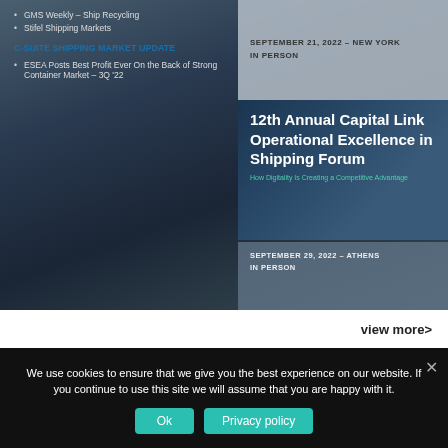[Figure (screenshot): Shipping industry webpage screenshot showing two event cards and a background ocean image. Left panel shows bullet points about GMS Weekly Ship Recycling, Stifel Shipping Markets, C-Suite Shipping Market Update, and ESEA Posts Best Profit Ever. Right panel shows two event cards: one for September 21 2022 New York and one for September 29 2022 Athens, with a 12th Annual Capital Link Operational Excellence in Shipping Forum overlay.]
view more>
We use cookies to ensure that we give you the best experience on our website. If you continue to use this site we will assume that you are happy with it.